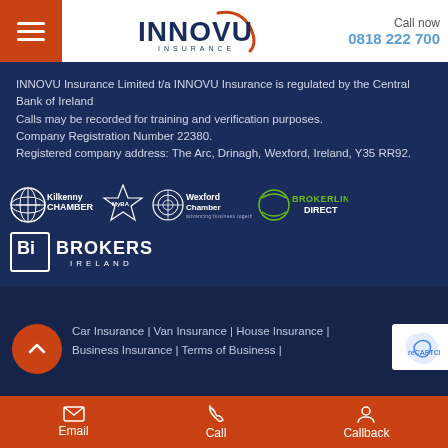INNOVU INSURANCE | Call now 0818 222 700
INNOVU Insurance Limited t/a INNOVU Insurance is regulated by the Central Bank of Ireland
Calls may be recorded for training and verification purposes.
Company Registration Number 22380.
Registered company address: The Arc, Drinagh, Wexford, Ireland, Y35 RR92.
[Figure (logo): Row of logos: Kilkenny Chamber, MyBA awards, Wexford Chamber, Brokerline Direct, Brokers Ireland]
Car Insurance | Van Insurance | House Insurance | Business Insurance | Terms of Business |
Email | Call | Callback